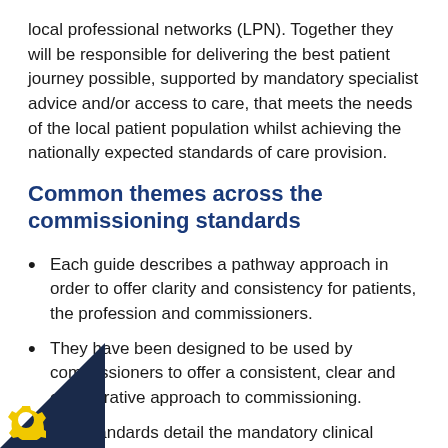local professional networks (LPN). Together they will be responsible for delivering the best patient journey possible, supported by mandatory specialist advice and/or access to care, that meets the needs of the local patient population whilst achieving the nationally expected standards of care provision.
Common themes across the commissioning standards
Each guide describes a pathway approach in order to offer clarity and consistency for patients, the profession and commissioners.
They have been designed to be used by commissioners to offer a consistent, clear and collaborative approach to commissioning.
The standards detail the mandatory clinical competencies required to deliver the various levels of specialist care rather than